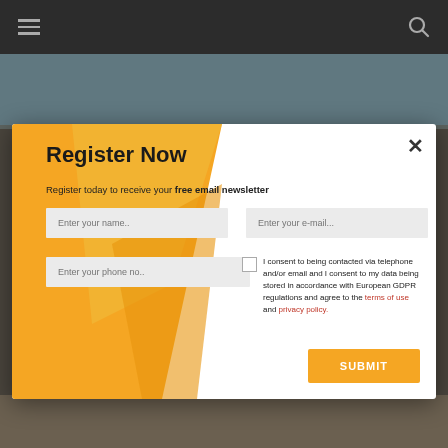[Figure (screenshot): Dark website navigation bar with hamburger menu icon on left and search icon on right]
[Figure (screenshot): Modal popup dialog with orange geometric background decoration, registration form with name, email, phone fields, consent checkbox, and submit button]
Register Now
Register today to receive your free email newsletter
Enter your name..
Enter your e-mail...
Enter your phone no..
I consent to being contacted via telephone and/or email and I consent to my data being stored in accordance with European GDPR regulations and agree to the terms of use and privacy policy.
SUBMIT